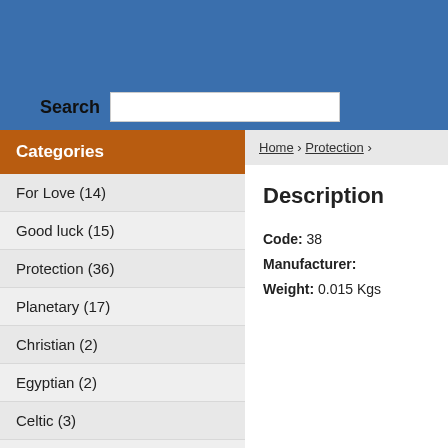Search
Categories
For Love (14)
Good luck (15)
Protection (36)
Planetary (17)
Christian (2)
Egyptian (2)
Celtic (3)
Magic (12)
Metaphysical (15)
Silver (19)
Home › Protection ›
Description
Code: 38
Manufacturer:
Weight: 0.015 Kgs